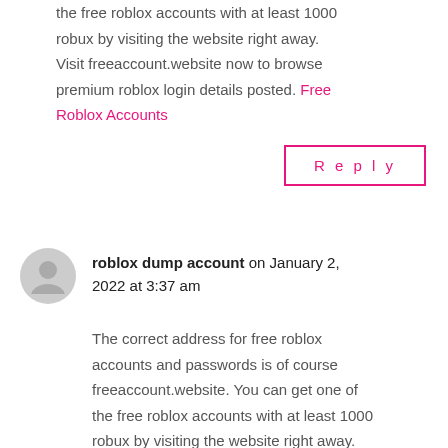the free roblox accounts with at least 1000 robux by visiting the website right away. Visit freeaccount.website now to browse premium roblox login details posted. Free Roblox Accounts
Reply
roblox dump account on January 2, 2022 at 3:37 am
The correct address for free roblox accounts and passwords is of course freeaccount.website. You can get one of the free roblox accounts with at least 1000 robux by visiting the website right away. Visit freeaccount.website now to browse premium roblox login details posted. Roblox free nts